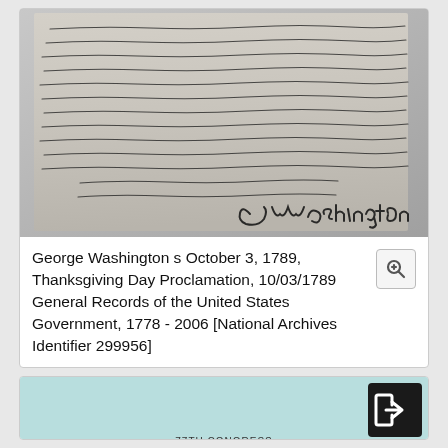[Figure (photo): Photograph of George Washington's handwritten October 3, 1789 Thanksgiving Day Proclamation document, showing cursive script with Washington's signature at the bottom.]
George Washington s October 3, 1789, Thanksgiving Day Proclamation, 10/03/1789 General Records of the United States Government, 1778 - 2006 [National Archives Identifier 299956]
[Figure (screenshot): Partial view of a document header showing '77TH CONGRESS' and 'H. J. RES. 41' on a light teal background, with a share button in the top right.]